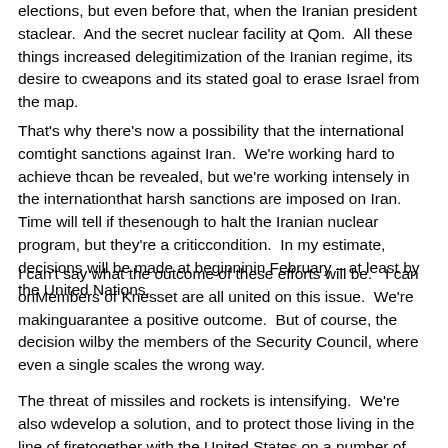elections, but even before that, when the Iranian president sta clear.  And the secret nuclear facility at Qom.  All these things increased delegitimization of the Iranian regime, its desire to c weapons and its stated goal to erase Israel from the map.
That's why there's now a possibility that the international com tight sanctions against Iran.  We're working hard to achieve th can be revealed, but we're working intensely in the internation that harsh sanctions are imposed on Iran.  Time will tell if thes enough to halt the Iranian nuclear program, but they're a critic condition.  In my estimate, decisions will be made at beginnin in February – at least by the United Nations.
I can't say what the outcome of these efforts will be.   I can on Members of Knesset are all united on this issue.  We're makin guarantee a positive outcome.  But of course, the decision wil by the members of the Security Council, where even a single scales the wrong way.
The threat of missiles and rockets is intensifying.  We're also w develop a solution, and to protect those living in the line of fire together with the United States on a number of projects – one